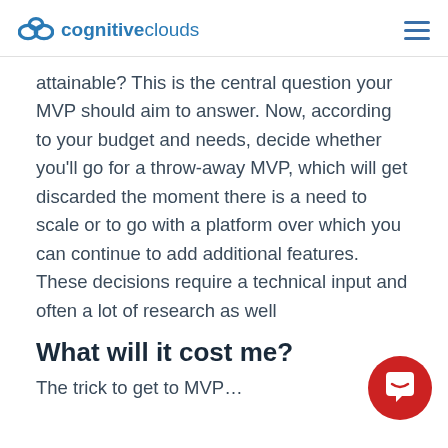cognitiveclouds
attainable? This is the central question your MVP should aim to answer. Now, according to your budget and needs, decide whether you'll go for a throw-away MVP, which will get discarded the moment there is a need to scale or to go with a platform over which you can continue to add additional features. These decisions require a technical input and often a lot of research as well
What will it cost me?
The trick to get to MVPs while you are starting